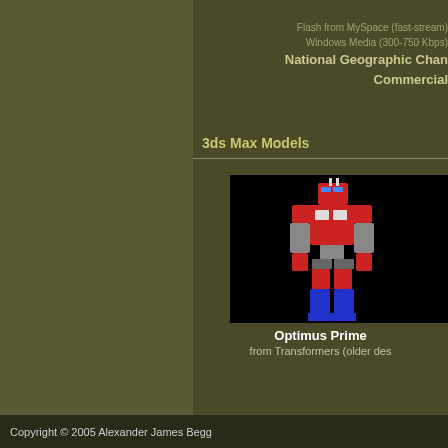Flash from MySpace (fast-stream)
Windows Media (300-750 Kbps)
National Geographic Chan Commercial
3ds Max Models
[Figure (illustration): 3D model of Optimus Prime from Transformers (older design), rendered with red torso, blue legs, and grey arms against a black background]
Optimus Prime
from Transformers (older des
Copyright © 2005 Alexander James Begg